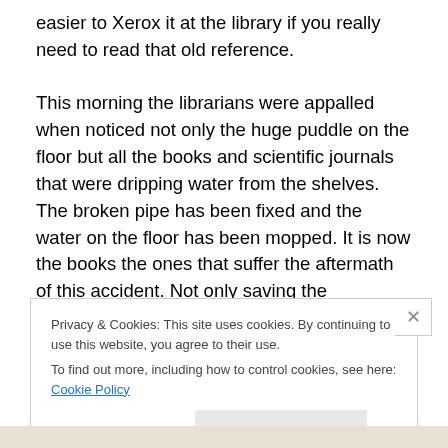easier to Xerox it at the library if you really need to read that old reference.

This morning the librarians were appalled when noticed not only the huge puddle on the floor but all the books and scientific journals that were dripping water from the shelves. The broken pipe has been fixed and the water on the floor has been mopped. It is now the books the ones that suffer the aftermath of this accident. Not only saving the information was important; wet paper is a great culture media for fungi which in turn could pose a health threat to
Privacy & Cookies: This site uses cookies. By continuing to use this website, you agree to their use.
To find out more, including how to control cookies, see here: Cookie Policy
Close and accept